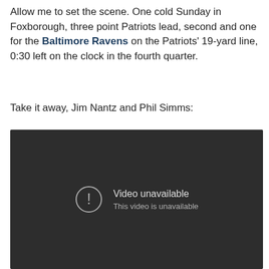Allow me to set the scene. One cold Sunday in Foxborough, three point Patriots lead, second and one for the Baltimore Ravens on the Patriots' 19-yard line, 0:30 left on the clock in the fourth quarter.
Take it away, Jim Nantz and Phil Simms:
[Figure (screenshot): Embedded video player showing 'Video unavailable – This video is unavailable' message on a dark background.]